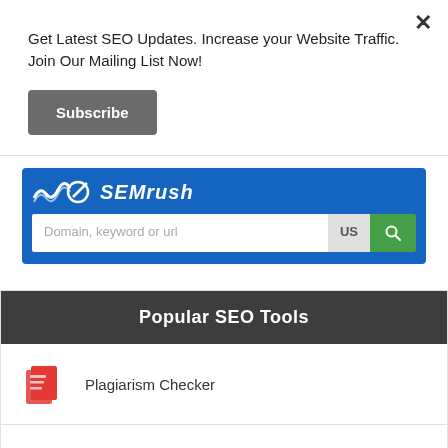Get Latest SEO Updates. Increase your Website Traffic. Join Our Mailing List Now!
Subscribe
[Figure (screenshot): SEMrush logo and search bar widget on blue background with 'Domain, keyword or url' input, US selector, and green search button]
Popular SEO Tools
Plagiarism Checker
Article Spinner / Rewriter
Keyword Position Checker